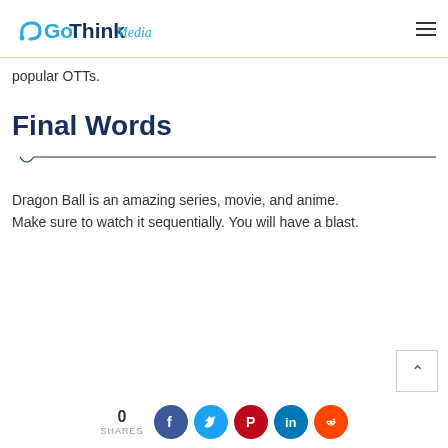GoThinkMedia
popular OTTs.
Final Words
Dragon Ball is an amazing series, movie, and anime. Make sure to watch it sequentially. You will have a blast.
0 SHARES